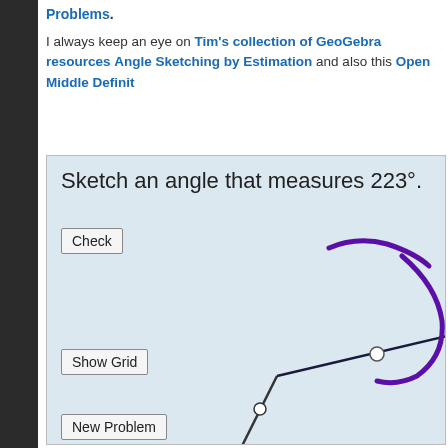Problems.
I always keep an eye on Tim's collection of GeoGebra resources Angle Sketching by Estimation and also this Open Middle Definit...
[Figure (screenshot): GeoGebra interactive applet showing 'Sketch an angle that measures 223°' with a Check button, Show Grid button, New Problem button, and a drawn angle with purple arc indicator on a light blue background.]